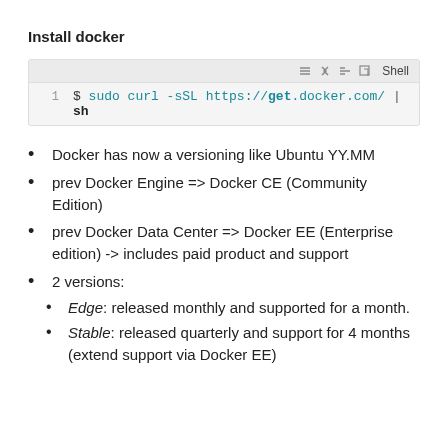Install docker
[Figure (screenshot): Code block showing shell command: $ sudo curl -sSL https://get.docker.com/ | sh, with a toolbar showing Shell label and icons]
Docker has now a versioning like Ubuntu YY.MM
prev Docker Engine => Docker CE (Community Edition)
prev Docker Data Center => Docker EE (Enterprise edition) -> includes paid product and support
2 versions:
Edge: released monthly and supported for a month.
Stable: released quarterly and support for 4 months (extend support via Docker EE)